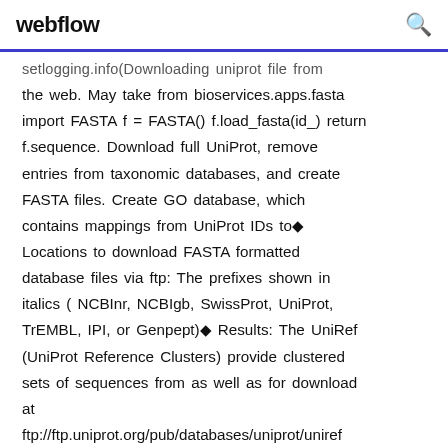webflow  🔍
setlogging.info(Downloading uniprot file from the web. May take from bioservices.apps.fasta import FASTA f = FASTA() f.load_fasta(id_) return f.sequence. Download full UniProt, remove entries from taxonomic databases, and create FASTA files. Create GO database, which contains mappings from UniProt IDs to◆ Locations to download FASTA formatted database files via ftp: The prefixes shown in italics ( NCBInr, NCBIgb, SwissProt, UniProt, TrEMBL, IPI, or Genpept)◆ Results: The UniRef (UniProt Reference Clusters) provide clustered sets of sequences from as well as for download at ftp://ftp.uniprot.org/pub/databases/uniprot/uniref